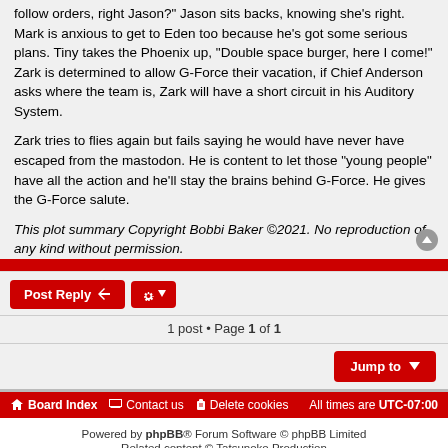follow orders, right Jason?" Jason sits backs, knowing she's right. Mark is anxious to get to Eden too because he's got some serious plans. Tiny takes the Phoenix up, "Double space burger, here I come!" Zark is determined to allow G-Force their vacation, if Chief Anderson asks where the team is, Zark will have a short circuit in his Auditory System.
Zark tries to flies again but fails saying he would have never have escaped from the mastodon. He is content to let those "young people" have all the action and he'll stay the brains behind G-Force. He gives the G-Force salute.
This plot summary Copyright Bobbi Baker ©2021. No reproduction of any kind without permission.
1 post • Page 1 of 1
Jump to
Board Index   Contact us   Delete cookies   All times are UTC-07:00
Powered by phpBB® Forum Software © phpBB Limited
Related content © Tatsunoko Production
Style by CoSa NoStrA DeSiGn and ported 3.3 by JAH Designer